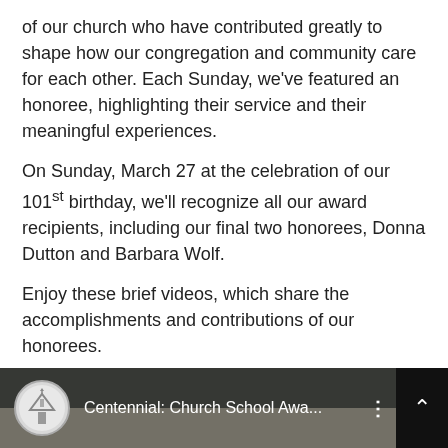of our church who have contributed greatly to shape how our congregation and community care for each other. Each Sunday, we've featured an honoree, highlighting their service and their meaningful experiences.
On Sunday, March 27 at the celebration of our 101st birthday, we'll recognize all our award recipients, including our final two honorees, Donna Dutton and Barbara Wolf.
Enjoy these brief videos, which share the accomplishments and contributions of our honorees.
Cheryl Schaefer: Church School Award
[Figure (screenshot): YouTube video thumbnail showing 'Centennial: Church School Awa...' with a church logo icon on the left and a three-dot menu icon on the right, dark background with a person visible at the bottom.]